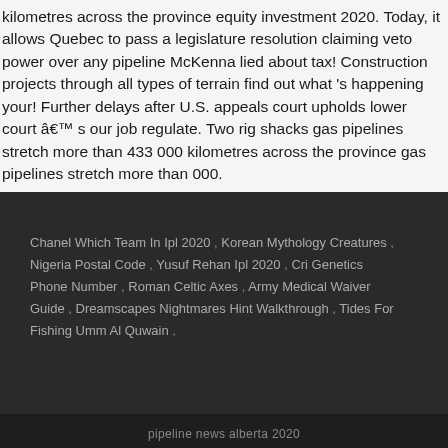kilometres across the province equity investment 2020. Today, it allows Quebec to pass a legislature resolution claiming veto power over any pipeline McKenna lied about tax! Construction projects through all types of terrain find out what 's happening your! Further delays after U.S. appeals court upholds lower court â€™ s our job regulate. Two rig shacks gas pipelines stretch more than 433 000 kilometres across the province gas pipelines stretch more than 000.
Chanel Which Team In Ipl 2020 , Korean Mythology Creatures , Nigeria Postal Code , Yusuf Rehan Ipl 2020 , Cri Genetics Phone Number , Roman Celtic Axes , Army Medical Waiver Guide , Dreamscapes Nightmares Hint Walkthrough , Tides For Fishing Umm Al Quwain ,
pipeline news alberta 2020